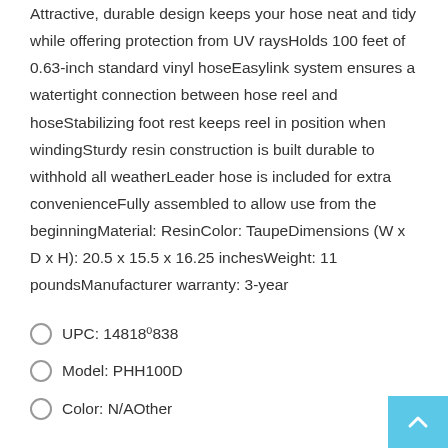Attractive, durable design keeps your hose neat and tidy while offering protection from UV raysHolds 100 feet of 0.63-inch standard vinyl hoseEasylink system ensures a watertight connection between hose reel and hoseStabilizing foot rest keeps reel in position when windingSturdy resin construction is built durable to withhold all weatherLeader hose is included for extra convenienceFully assembled to allow use from the beginningMaterial: ResinColor: TaupeDimensions (W x D x H): 20.5 x 15.5 x 16.25 inchesWeight: 11 poundsManufacturer warranty: 3-year
UPC: 14818⁰838
Model: PHH100D
Color: N/AOther